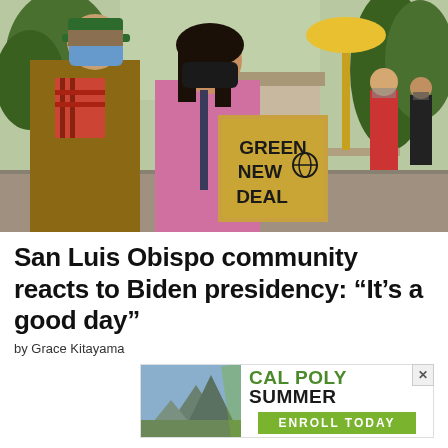[Figure (photo): Outdoor scene with masked people at what appears to be a community event. A man in a green cap and brown jacket stands next to a woman in a pink hoodie holding a cardboard sign reading 'GREEN NEW DEAL'. Other masked people visible in background near tables and trees.]
San Luis Obispo community reacts to Biden presidency: “It’s a good day”
by Grace Kitayama
[Figure (illustration): Cal Poly Summer advertisement banner. Left side shows mountain landscape photo. Right side has text 'CAL POLY SUMMER' with 'ENROLL TODAY' in green button. Close button (x) in upper right corner.]